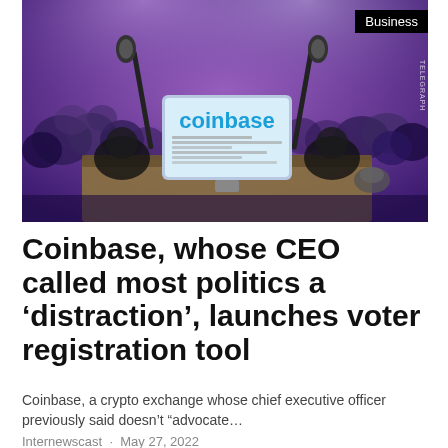[Figure (illustration): Illustrated image showing a Coinbase-branded tablet/podium at what appears to be a congressional or political hearing setting, with microphones, blurred crowd in background. Purple/violet lighting. Business tag in top-right corner.]
Coinbase, whose CEO called most politics a ‘distraction’, launches voter registration tool
Coinbase, a crypto exchange whose chief executive officer previously said doesn’t “advocate…
Internewscast · May 27, 2022